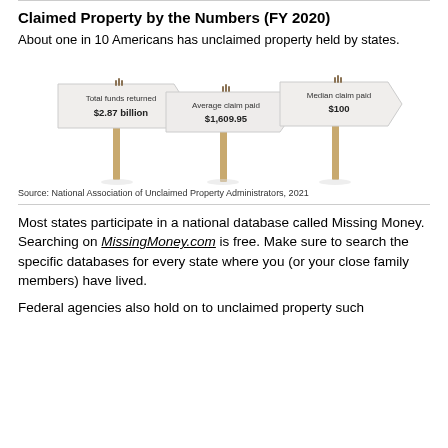Claimed Property by the Numbers (FY 2020)
About one in 10 Americans has unclaimed property held by states.
[Figure (infographic): Three directional arrow signs on wooden posts showing: Total funds returned $2.87 billion, Average claim paid $1,609.95, Median claim paid $100]
Source: National Association of Unclaimed Property Administrators, 2021
Most states participate in a national database called Missing Money. Searching on MissingMoney.com is free. Make sure to search the specific databases for every state where you (or your close family members) have lived.
Federal agencies also hold on to unclaimed property such